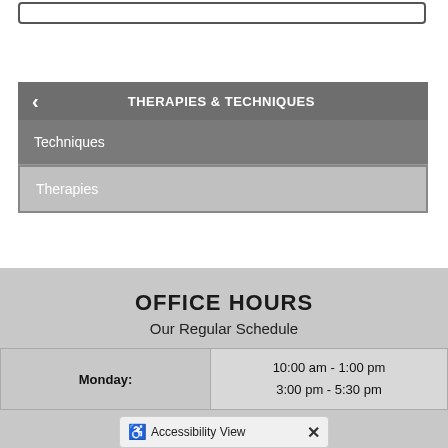[Figure (screenshot): Search bar input box at top of page]
THERAPIES & TECHNIQUES
Techniques
Therapies
OFFICE HOURS
Our Regular Schedule
|  | Hours |
| --- | --- |
| Monday: | 10:00 am - 1:00 pm
3:00 pm - 5:30 pm |
Accessibility View ×